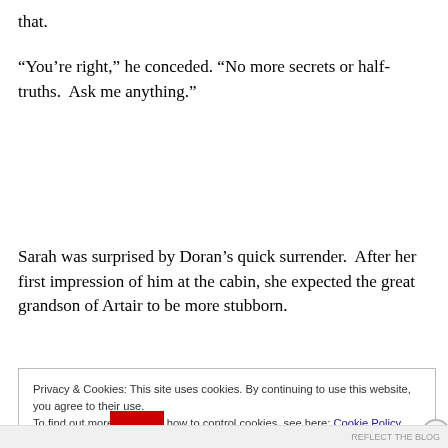that.
“You’re right,” he conceded. “No more secrets or half-truths.  Ask me anything.”
Sarah was surprised by Doran’s quick surrender.  After her first impression of him at the cabin, she expected the great grandson of Artair to be more stubborn.
Privacy & Cookies: This site uses cookies. By continuing to use this website, you agree to their use.
To find out more, including how to control cookies, see here: Cookie Policy
Close and accept